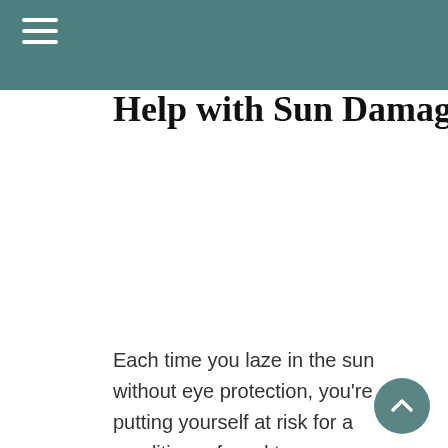Help with Sun Damage
Each time you laze in the sun without eye protection, you’re putting yourself at risk for a condition referred to as photokeratitis. Commonly known as “sunburned eyes,” photokeratitis causes damage to the clear